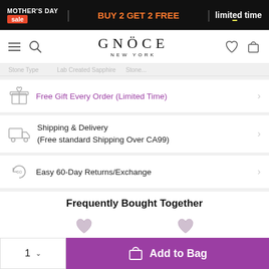MOTHER'S DAY sale | BUY 2 GET 2 FREE | limited time
[Figure (screenshot): GNOCE NEW YORK navigation bar with hamburger menu, search, logo, heart, and bag icons]
Stone Type ... Created Sapphire ... Stone ...
Free Gift Every Order (Limited Time)
Shipping & Delivery (Free standard Shipping Over CA99)
Easy 60-Day Returns/Exchange
Frequently Bought Together
Add to Bag — quantity 1